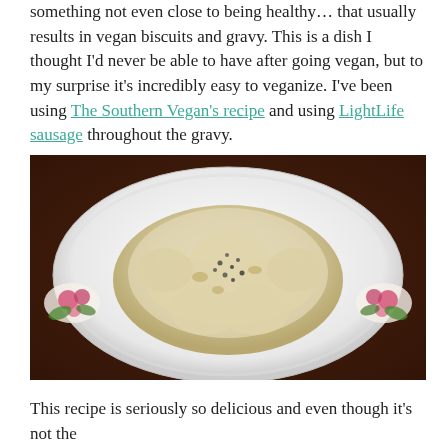something not even close to being healthy... that usually results in vegan biscuits and gravy. This is a dish I thought I'd never be able to have after going vegan, but to my surprise it's incredibly easy to veganize. I've been using The Southern Vegan's recipe and using LightLife sausage throughout the gravy.
[Figure (photo): A white plate with floral decoration showing biscuits and gravy — biscuits covered in creamy white sausage gravy sprinkled with black pepper, placed on a wooden table.]
This recipe is seriously so delicious and even though it's not the